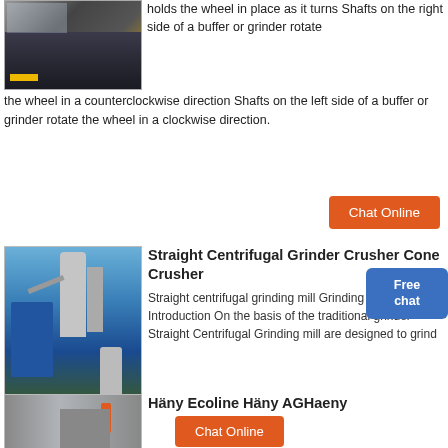[Figure (photo): Industrial grinding/buffer machine with yellow accents]
holds the wheel in place as it turns Shafts on the right side of a buffer or grinder rotate the wheel in a counterclockwise direction Shafts on the left side of a buffer or grinder rotate the wheel in a clockwise direction.
Chat Online
[Figure (photo): Industrial straight centrifugal grinding mill installation with silos and blue tanks against blue sky]
Straight Centrifugal Grinder Crusher Cone Crusher
Straight centrifugal grinding mill Grinding mill machine Introduction On the basis of the traditional grinder Straight Centrifugal Grinding mill are designed to grind
Chat Online
[Figure (photo): Industrial equipment - gray metal structure with pink/red element]
Häny Ecoline Häny AGHaeny